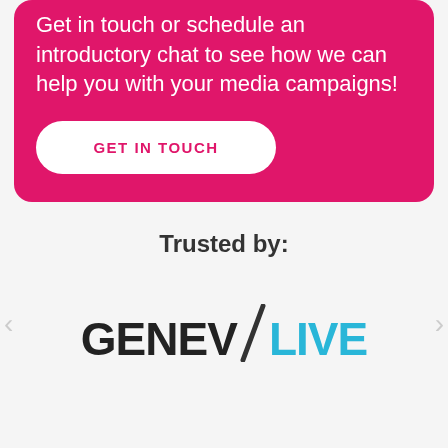Get in touch or schedule an introductory chat to see how we can help you with your media campaigns!
GET IN TOUCH
Trusted by:
[Figure (logo): Geneva Alive logo with dark bold text 'GENEV' followed by a diagonal slash and blue bold text 'LIVE']